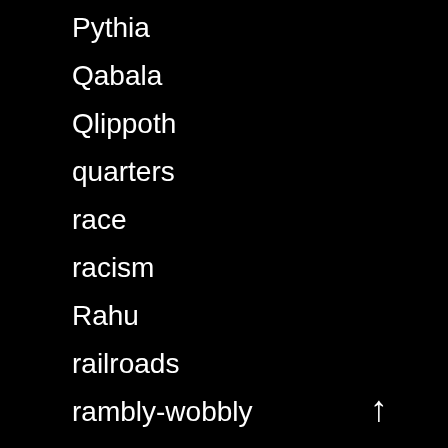Pythia
Qabala
Qlippoth
quarters
race
racism
Rahu
railroads
rambly-wobbly
Ramsey Dukes
Rane Willerslev
Raven Singer